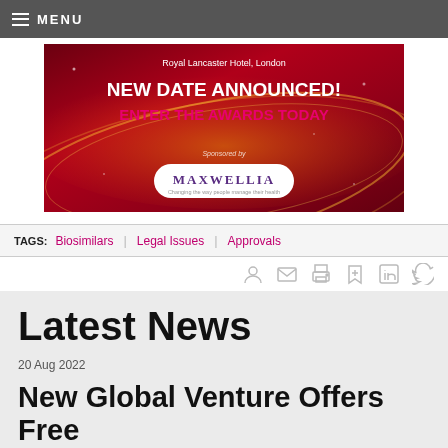MENU
[Figure (illustration): Advertisement banner for awards event at Royal Lancaster Hotel, London. Dark red/crimson background with gold glowing arcs. Text: 'NEW DATE ANNOUNCED! ENTER THE AWARDS TODAY'. Sponsored by Maxwellia logo in white pill-shaped box.]
TAGS: Biosimilars | Legal Issues | Approvals
Latest News
20 Aug 2022
New Global Venture Offers Free...